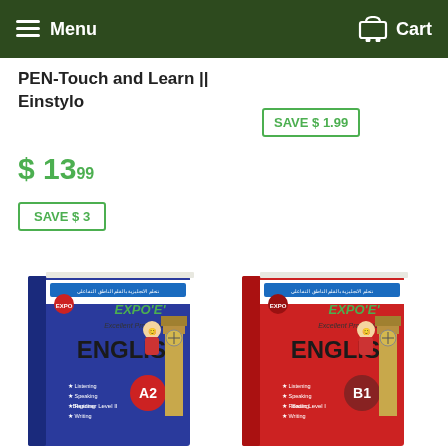Menu  Cart
PEN-Touch and Learn || Einstylo
SAVE $ 1.99
$ 13.99
SAVE $ 3
[Figure (photo): Two EXPO'E Excellent Production of English books — A2 (blue cover, Beginner Level II) and B1 (red cover, Basic Level I) — shown side by side with Big Ben and a cartoon character on the cover.]